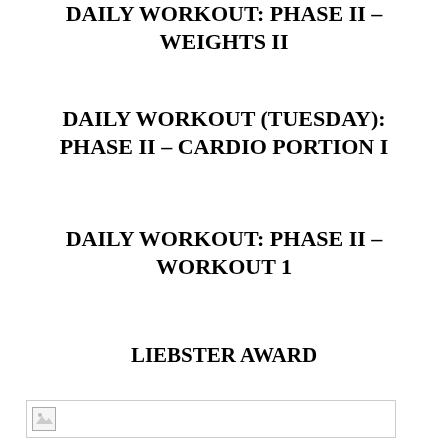DAILY WORKOUT: PHASE II – WEIGHTS II
DAILY WORKOUT (TUESDAY): PHASE II – CARDIO PORTION I
DAILY WORKOUT: PHASE II – WORKOUT 1
LIEBSTER AWARD
[Figure (photo): Broken image placeholder]